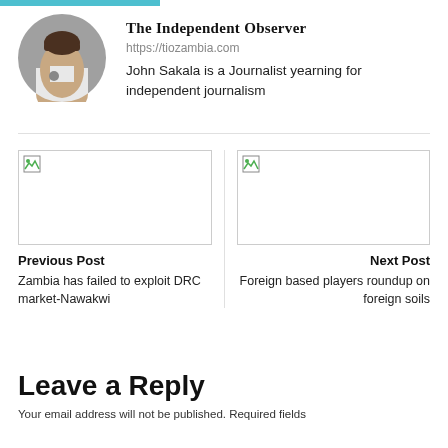[Figure (photo): Circular profile photo of a man in a white shirt]
The Independent Observer
https://tiozambia.com
John Sakala is a Journalist yearning for independent journalism
[Figure (photo): Broken image placeholder for Previous Post]
Previous Post
Zambia has failed to exploit DRC market-Nawakwi
[Figure (photo): Broken image placeholder for Next Post]
Next Post
Foreign based players roundup on foreign soils
Leave a Reply
Your email address will not be published. Required fields